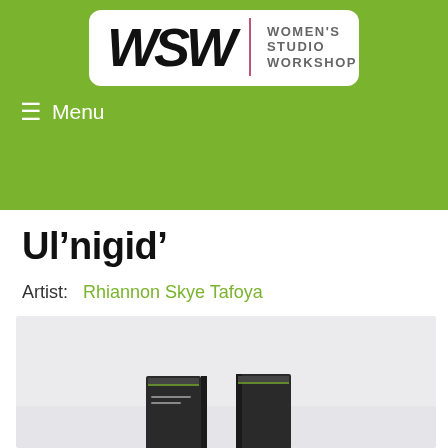WSW | WOMEN'S STUDIO WORKSHOP
[Figure (logo): Women's Studio Workshop (WSW) logo — stylized WSW letterform in black on white background with pink vertical divider and text 'WOMEN'S STUDIO WORKSHOP' in grey]
≡  Menu
Ul'nigid'
Artist:   Rhiannon Skye Tafoya
[Figure (photo): Product photo of books/publications titled 'Ul'nigid'' on a light grey background, showing multiple book copies arranged together]